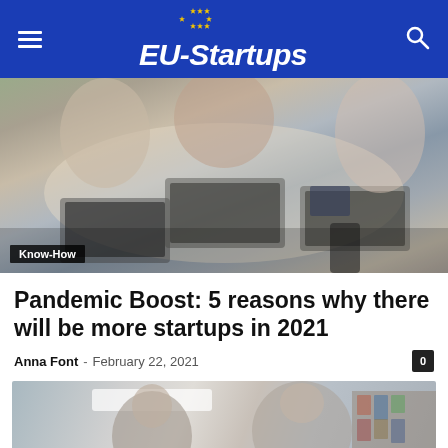EU-Startups
[Figure (photo): Overhead view of people working together at a table with laptops, books, and mobile devices. Badge reads 'Know-How'.]
Pandemic Boost: 5 reasons why there will be more startups in 2021
Anna Font – February 22, 2021  0
[Figure (photo): Two people in an office or workshop environment, partially visible from below.]